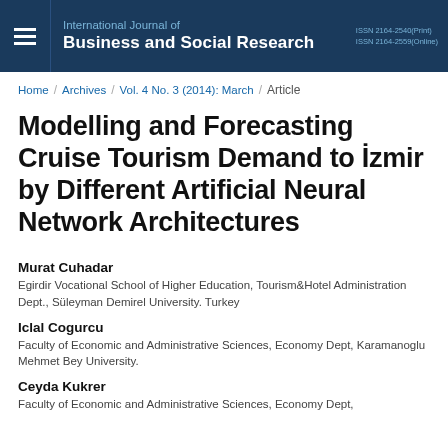International Journal of Business and Social Research | ISSN 2164-2540(Print) ISSN 2164-2559(Online)
Home / Archives / Vol. 4 No. 3 (2014): March / Article
Modelling and Forecasting Cruise Tourism Demand to İzmir by Different Artificial Neural Network Architectures
Murat Cuhadar
Egirdir Vocational School of Higher Education, Tourism&Hotel Administration Dept., Süleyman Demirel University. Turkey
Iclal Cogurcu
Faculty of Economic and Administrative Sciences, Economy Dept, Karamanoglu Mehmet Bey University.
Ceyda Kukrer
Faculty of Economic and Administrative Sciences, Economy Dept,...